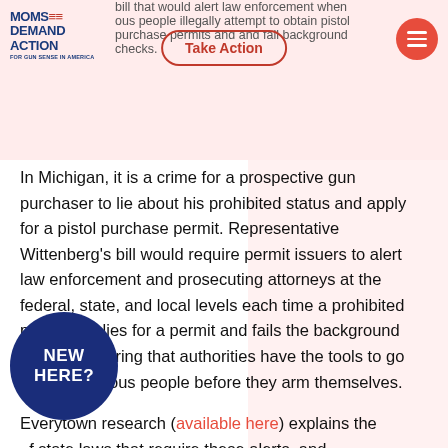MOMS DEMAND ACTION FOR GUN SENSE IN AMERICA
bill that would alert law enforcement when ous people illegally attempt to obtain pistol purchase permits and and fail background checks.
In Michigan, it is a crime for a prospective gun purchaser to lie about his prohibited status and apply for a pistol purchase permit. Representative Wittenberg’s bill would require permit issuers to alert law enforcement and prosecuting attorneys at the federal, state, and local levels each time a prohibited person applies for a permit and fails the background check—ensuring that authorities have the tools to go after dangerous people before they arm themselves.
Everytown research (available here) explains the f state laws that require these alerts, and he significant danger presented by prohibited rs seeking guns: three in 10 people who “lie-